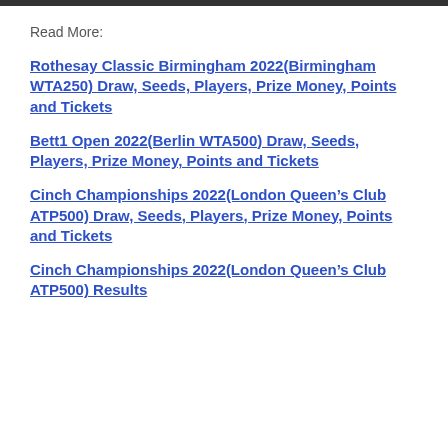[Figure (photo): Top image bar partially visible at the top of the page]
Read More:
Rothesay Classic Birmingham 2022(Birmingham WTA250) Draw, Seeds, Players, Prize Money, Points and Tickets
Bett1 Open 2022(Berlin WTA500) Draw, Seeds, Players, Prize Money, Points and Tickets
Cinch Championships 2022(London Queen's Club ATP500) Draw, Seeds, Players, Prize Money, Points and Tickets
Cinch Championships 2022(London Queen's Club ATP500) Results